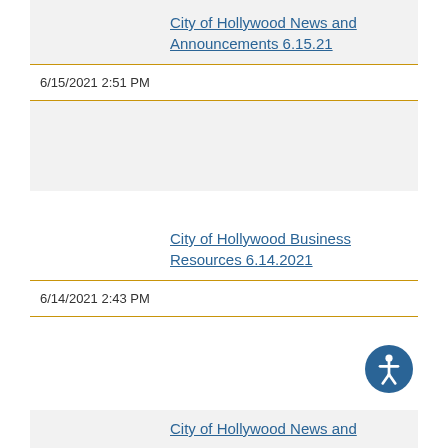City of Hollywood News and Announcements 6.15.21
6/15/2021 2:51 PM
City of Hollywood Business Resources 6.14.2021
6/14/2021 2:43 PM
City of Hollywood News and